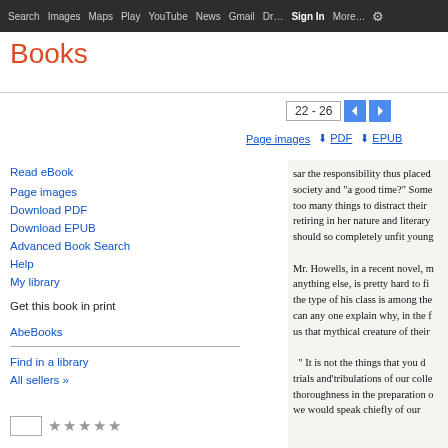Search  Images  Maps  Play  YouTube  News  Gmail  Drive  More  Sign in
Books
22 - 26
Page images   PDF   EPUB
Read eBook
Page images
Download PDF
Download EPUB
Advanced Book Search
Help
My library
Get this book in print
AbeBooks
Find in a library
All sellers »
sar the responsibility thus placed society and "a good time?" Some too many things to distract their retiring in her nature and literary should so completely unfit young

Mr. Howells, in a recent novel, m anything else, is pretty hard to fi the type of his class is among the can any one explain why, in the f us that mythical creature of their

" It is not the things that you d trials and'tribulations of our colle thoroughness in the preparation o we would speak chiefly of our